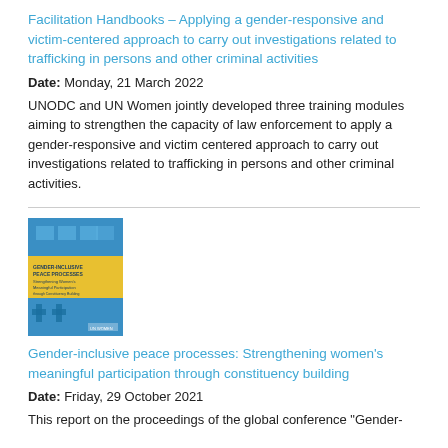Facilitation Handbooks – Applying a gender-responsive and victim-centered approach to carry out investigations related to trafficking in persons and other criminal activities
Date: Monday, 21 March 2022
UNODC and UN Women jointly developed three training modules aiming to strengthen the capacity of law enforcement to apply a gender-responsive and victim centered approach to carry out investigations related to trafficking in persons and other criminal activities.
[Figure (illustration): Book cover of 'Gender-inclusive peace processes' publication with blue and yellow design]
Gender-inclusive peace processes: Strengthening women's meaningful participation through constituency building
Date: Friday, 29 October 2021
This report on the proceedings of the global conference "Gender-